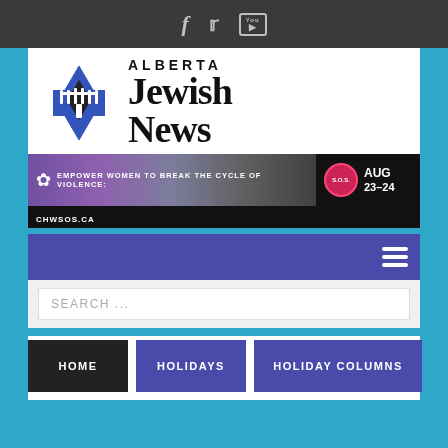Social media icons: Facebook, Twitter, YouTube
[Figure (logo): Alberta Jewish News logo with Star of David and menorah]
[Figure (infographic): Banner ad: EMPOWER WOMEN TO BREAK THE CYCLE OF VIOLENCE: CHWSOS.CA AUG 23-24]
[Figure (screenshot): Navigation bar with hamburger menu icon]
SEARCH ...
HOME
HOLIDAYS
HOLIDAY COLUMNS